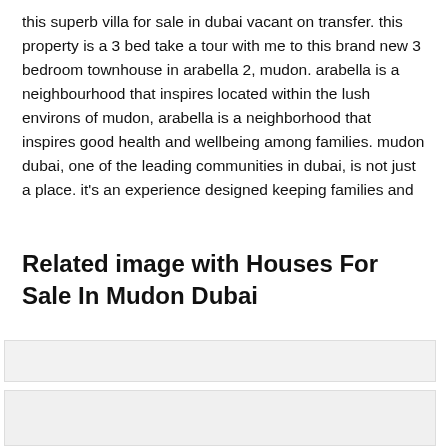this superb villa for sale in dubai vacant on transfer. this property is a 3 bed take a tour with me to this brand new 3 bedroom townhouse in arabella 2, mudon. arabella is a neighbourhood that inspires located within the lush environs of mudon, arabella is a neighborhood that inspires good health and wellbeing among families. mudon dubai, one of the leading communities in dubai, is not just a place. it's an experience designed keeping families and
Related image with Houses For Sale In Mudon Dubai
[Figure (other): Light gray placeholder image box 1]
[Figure (other): Light gray placeholder image box 2]